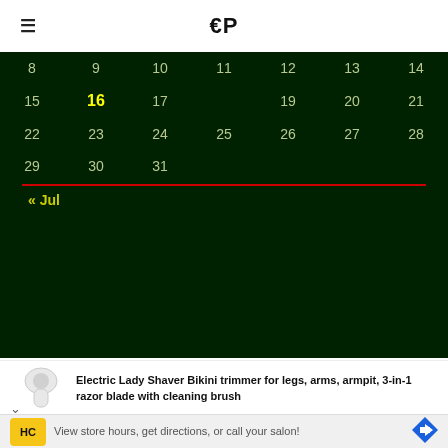EP
[Figure (screenshot): Calendar widget showing August dates on dark green background. Row with 8,9,10,11,12,13,14; row with 15,16(highlighted yellow/today),17,19,20,21; row with 22,23,24,25,26,27,28; row with 29,30,31. Red horizontal line separator. Navigation link '« Jul'.]
Electric Lady Shaver Bikini trimmer for legs, arms, armpit, 3-in-1 razor blade with cleaning brush
View store hours, get directions, or call your salon!